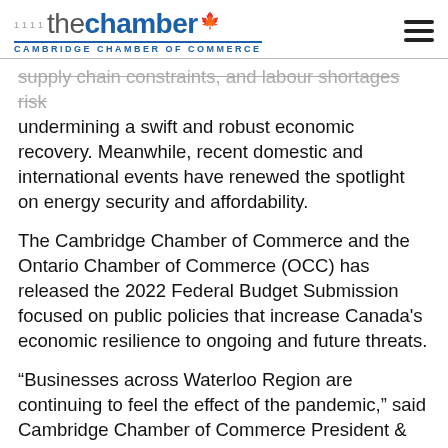the chamber — CAMBRIDGE CHAMBER OF COMMERCE
supply chain constraints, and labour shortages risk undermining a swift and robust economic recovery. Meanwhile, recent domestic and international events have renewed the spotlight on energy security and affordability.
The Cambridge Chamber of Commerce and the Ontario Chamber of Commerce (OCC) has released the 2022 Federal Budget Submission focused on public policies that increase Canada's economic resilience to ongoing and future threats.
“Businesses across Waterloo Region are continuing to feel the effect of the pandemic,” said Cambridge Chamber of Commerce President & CEO Greg Durocher.  “Budget 2022 must lay the groundwo... strong, inclusive recovery with policies that support